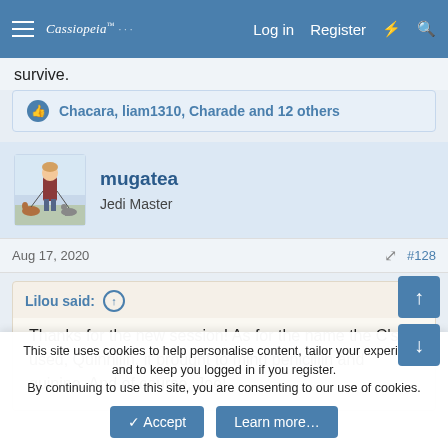Cassiopeia | Log in | Register
survive.
Chacara, liam1310, Charade and 12 others
mugatea
Jedi Master
Aug 17, 2020
#128
Lilou said:
Thanks for the new session! As for the name the C's used, Quinnilln, it brought to mind penicillin and quinine. And of course, Joe!
This site uses cookies to help personalise content, tailor your experience and to keep you logged in if you register.
By continuing to use this site, you are consenting to our use of cookies.